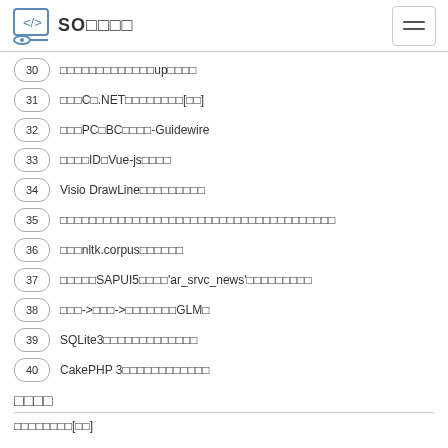SO□□□□
30 □□□□□□□□□□□□□up□□□□
31 □□□C□.NET□□□□□□□□[□□]
32 □□□PC□BC□□□□-Guidewire
33 □□□□ID□Vue-js□□□□
34 Visio DrawLine□□□□□□□□□
35 □□□□□□□□□□□□□□□□□□□□□□□□□□□□□□□□□□□
36 □□□nltk.corpus□□□□□□
37 □□□□□SAPUI5□□□□'ar_srvc_news'□□□□□□□□□
38 □□□->□□□->□□□□□□□GLM□
39 SQLite3□□□□□□□□□□□□□
40 CakePHP 3□□□□□□□□□□□□
□□□□
□□□□□□□□[□□]